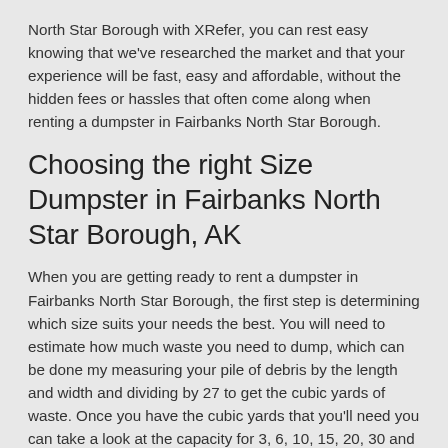North Star Borough with XRefer, you can rest easy knowing that we've researched the market and that your experience will be fast, easy and affordable, without the hidden fees or hassles that often come along when renting a dumpster in Fairbanks North Star Borough.
Choosing the right Size Dumpster in Fairbanks North Star Borough, AK
When you are getting ready to rent a dumpster in Fairbanks North Star Borough, the first step is determining which size suits your needs the best. You will need to estimate how much waste you need to dump, which can be done my measuring your pile of debris by the length and width and dividing by 27 to get the cubic yards of waste. Once you have the cubic yards that you'll need you can take a look at the capacity for 3, 6, 10, 15, 20, 30 and 40 cubic yard dumpsters in Fairbanks North Star Borough and choose one that will work. It's important that you have enough space, so if you are on the border between two different sizes you should choose the larger one, or you may have to order another dumpster, or pay for it to be hauled to the junk yard in Fairbanks North Star Borough and back to your